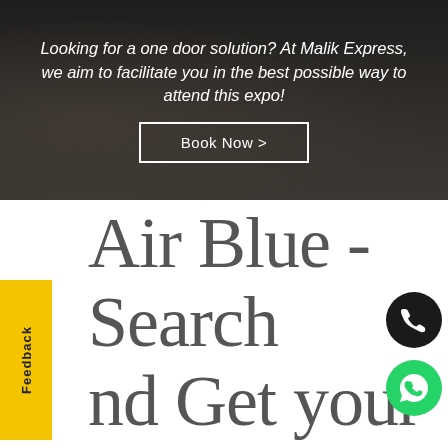[Figure (screenshot): Dark crowd photo background with overlay text and Book Now button]
Looking for a one door solution? At Malik Express, we aim to facilitate you in the best possible way to attend this expo!
Book Now >
Air Blue - Search and Get your AirBlue tickets on discount with